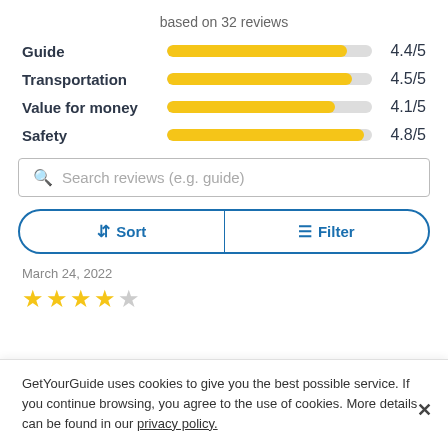based on 32 reviews
[Figure (bar-chart): Rating breakdown]
Search reviews (e.g. guide)
↓↑ Sort   ≡ Filter
March 24, 2022
★★★★☆ (4 out of 5 stars)
GetYourGuide uses cookies to give you the best possible service. If you continue browsing, you agree to the use of cookies. More details can be found in our privacy policy.